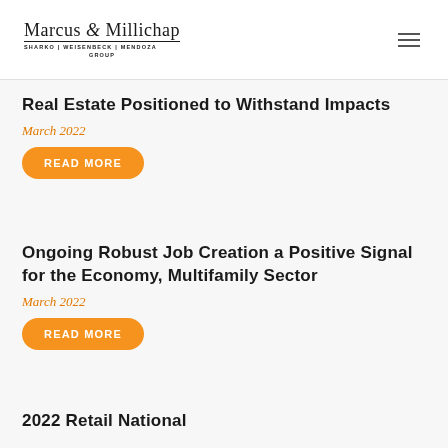Marcus & Millichap SHARKO | WEISENBECK | MENDOZA GROUP
Real Estate Positioned to Withstand Impacts
March 2022
READ MORE
Ongoing Robust Job Creation a Positive Signal for the Economy, Multifamily Sector
March 2022
READ MORE
2022 Retail National